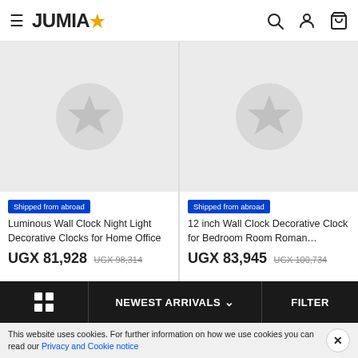JUMIA
[Figure (screenshot): Jumia e-commerce product listing page showing two wall clock products with placeholder images, prices in UGX, and a bottom navigation toolbar]
Shipped from abroad
Luminous Wall Clock Night Light Decorative Clocks for Home Office
UGX 81,928 UGX 98,314
Shipped from abroad
12 inch Wall Clock Decorative Clock for Bedroom Room Roman…
UGX 83,945 UGX 100,734
NEWEST ARRIVALS
FILTER
This website uses cookies. For further information on how we use cookies you can read our Privacy and Cookie notice